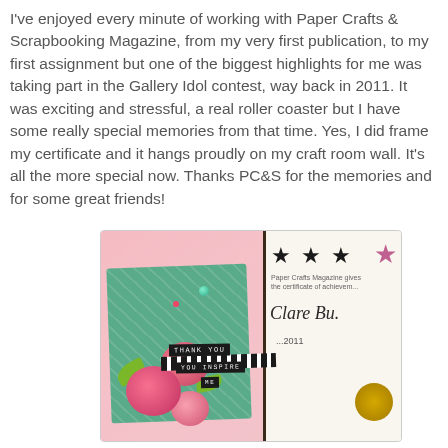I've enjoyed every minute of working with Paper Crafts & Scrapbooking Magazine, from my very first publication, to my first assignment but one of the biggest highlights for me was taking part in the Gallery Idol contest, way back in 2011. It was exciting and stressful, a real roller coaster but I have some really special memories from that time. Yes, I did frame my certificate and it hangs proudly on my craft room wall. It's all the more special now. Thanks PC&S for the memories and for some great friends!
[Figure (photo): A photograph showing a handmade greeting card with pink roses and text labels 'THANK YOU', 'YOU INSPIRE', 'ME' on a teal/green card background, alongside a framed certificate with stars and the name 'Clare Bu...' with a gold seal, placed against a pink background.]